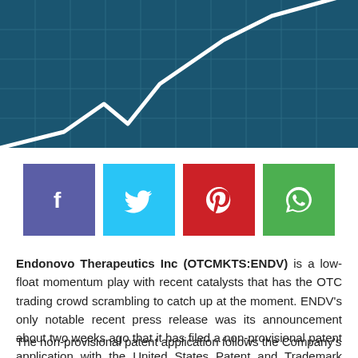[Figure (illustration): Dark teal/blue background with white line chart graphic showing market trend going up]
[Figure (infographic): Row of four social share buttons: Facebook (purple), Twitter (light blue), Pinterest (red), WhatsApp (green)]
Endonovo Therapeutics Inc (OTCMKTS:ENDV) is a low-float momentum play with recent catalysts that has the OTC trading crowd scrambling to catch up at the moment. ENDV's only notable recent press release was its announcement about two weeks ago that it has filed a non-provisional patent application with the United States Patent and Trademark Office (USPTO) covering a method to treat tissues and organs using its non-invasive electroceutical technology.
The non-provisional patent application follows the Company's